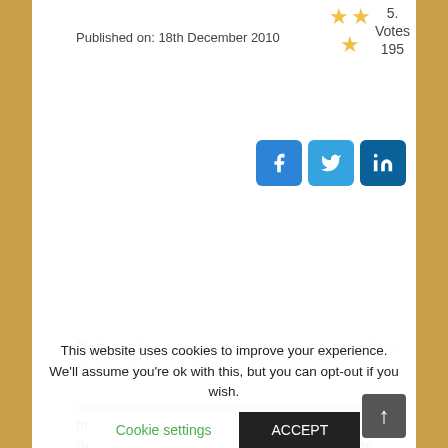Published on: 18th December 2010
[Figure (infographic): Star rating: 3 stars shown (two on top row, one below), 5 votes, 195 total]
[Figure (infographic): Social share buttons: Facebook, Twitter, LinkedIn]
Tags: Conferences - Culture - Europe - Events - Salim Al-Hassani - Transmission -
In a keynote lecture pronounced by Professor Salim T S Al-Hassani in September 2003 at the European Parliament in Brussels, he used slides and 3-D animations to outline the impressive heritage which Europe received from the Muslim World which helped trigger the Renaissance. He stressed in particular the need to remember contributions in the development of science and technology in the
This website uses cookies to improve your experience. We'll assume you're ok with this, but you can opt-out if you wish.
Cookie settings
ACCEPT